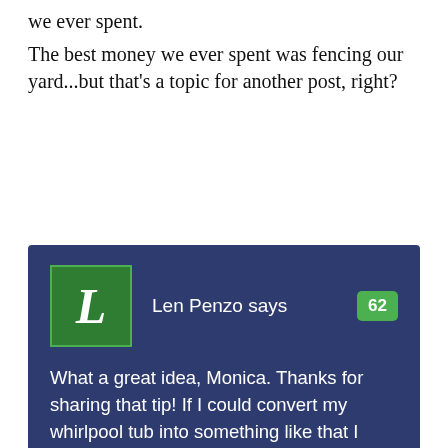we ever spent.
The best money we ever spent was fencing our yard...but that's a topic for another post, right?
[Figure (screenshot): Comment box with dark blue background. Avatar showing green square with white italic 'L'. Author name 'Len Penzo says' with green badge showing '62'. Comment text: 'What a great idea, Monica. Thanks for sharing that tip! If I could convert my whirlpool tub into something like that I would. Unfortunately, there are two windows around it, so that is probably out of the question.']
[Figure (screenshot): CVS Pharmacy advertisement: 'Shop In-Store Or Online' with CVS logo and directional arrow icon]